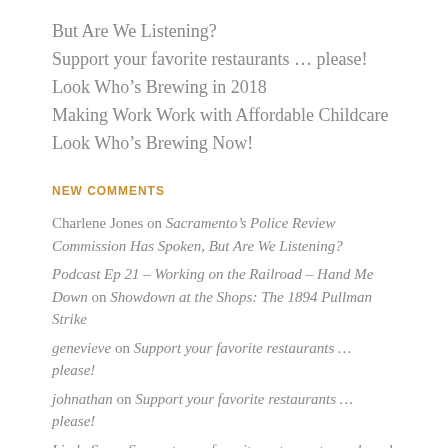But Are We Listening?
Support your favorite restaurants … please!
Look Who's Brewing in 2018
Making Work Work with Affordable Childcare
Look Who's Brewing Now!
NEW COMMENTS
Charlene Jones on Sacramento's Police Review Commission Has Spoken, But Are We Listening?
Podcast Ep 21 – Working on the Railroad – Hand Me Down on Showdown at the Shops: The 1894 Pullman Strike
genevieve on Support your favorite restaurants … please!
johnathan on Support your favorite restaurants … please!
Linda Su on Support your favorite restaurants … please!